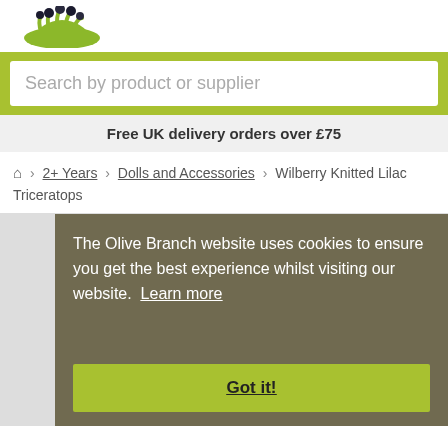[Figure (logo): Olive Branch logo with hand holding berries, green and black]
Search by product or supplier
Free UK delivery orders over £75
🏠 › 2+ Years › Dolls and Accessories › Wilberry Knitted Lilac Triceratops
The Olive Branch website uses cookies to ensure you get the best experience whilst visiting our website. Learn more
Got it!